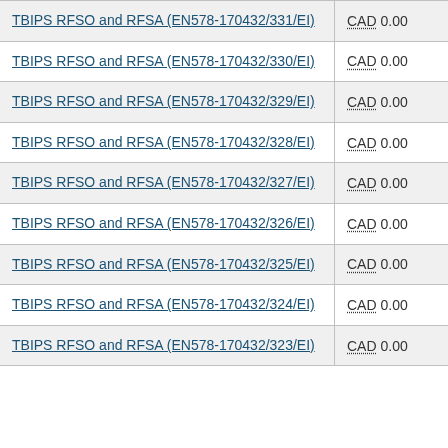| Contract Name | Value |
| --- | --- |
| TBIPS RFSO and RFSA (EN578-170432/331/EI) | CAD 0.00 |
| TBIPS RFSO and RFSA (EN578-170432/330/EI) | CAD 0.00 |
| TBIPS RFSO and RFSA (EN578-170432/329/EI) | CAD 0.00 |
| TBIPS RFSO and RFSA (EN578-170432/328/EI) | CAD 0.00 |
| TBIPS RFSO and RFSA (EN578-170432/327/EI) | CAD 0.00 |
| TBIPS RFSO and RFSA (EN578-170432/326/EI) | CAD 0.00 |
| TBIPS RFSO and RFSA (EN578-170432/325/EI) | CAD 0.00 |
| TBIPS RFSO and RFSA (EN578-170432/324/EI) | CAD 0.00 |
| TBIPS RFSO and RFSA (EN578-170432/323/EI) | CAD 0.00 |